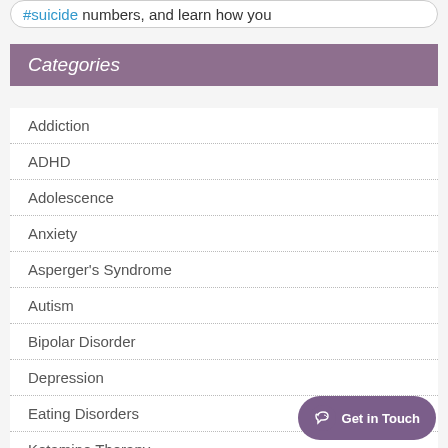#suicide numbers, and learn how you
Categories
Addiction
ADHD
Adolescence
Anxiety
Asperger's Syndrome
Autism
Bipolar Disorder
Depression
Eating Disorders
Ketamine Therapy
Media